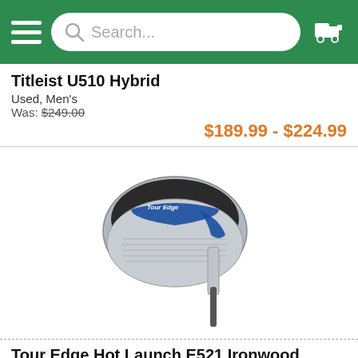Search...
Titleist U510 Hybrid
Used, Men's
Was: $249.00
$189.99 - $224.99
[Figure (photo): Tour Edge Hot Launch E521 Ironwood Hybrid golf club head, silver with blue accents, shown from above at an angle]
Tour Edge Hot Launch E521 Ironwood Hybrid
Used, Men's
$109.99
[Figure (photo): Partial view of a third golf club head at the bottom of the page]